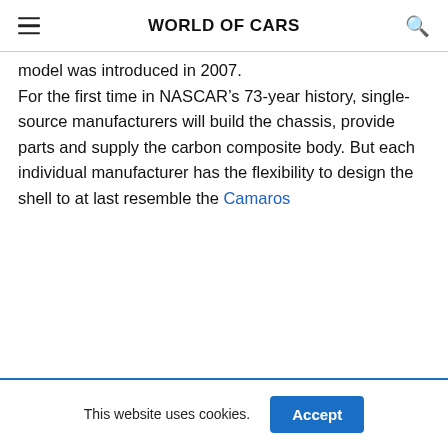WORLD OF CARS
model was introduced in 2007. For the first time in NASCAR’s 73-year history, single-source manufacturers will build the chassis, provide parts and supply the carbon composite body. But each individual manufacturer has the flexibility to design the shell to at last resemble the Camaros
This website uses cookies. Accept